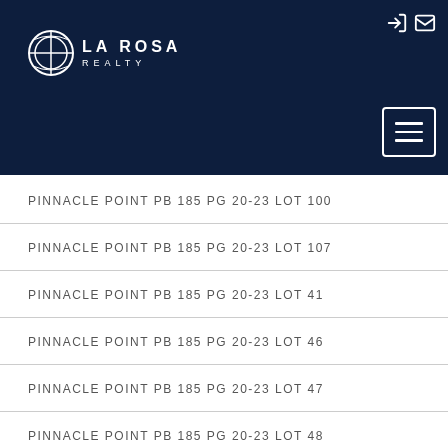LA ROSA REALTY
PINNACLE POINT PB 185 PG 20-23 LOT 100
PINNACLE POINT PB 185 PG 20-23 LOT 107
PINNACLE POINT PB 185 PG 20-23 LOT 41
PINNACLE POINT PB 185 PG 20-23 LOT 46
PINNACLE POINT PB 185 PG 20-23 LOT 47
PINNACLE POINT PB 185 PG 20-23 LOT 48
PINNACLE POINT PB 185 PG 20-23 LOT 49